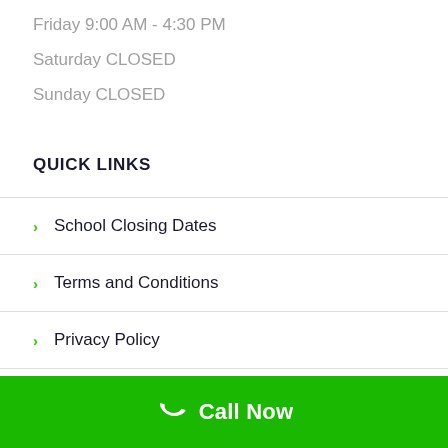Friday 9:00 AM - 4:30 PM
Saturday CLOSED
Sunday CLOSED
QUICK LINKS
> School Closing Dates
> Terms and Conditions
> Privacy Policy
> Data Protection Policy
Call Now